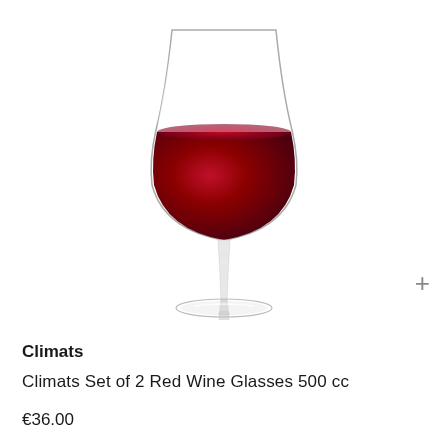[Figure (photo): A crystal clear red wine glass filled approximately halfway with red wine, shown on a white background. The glass has a wide bowl tapering to a narrow stem and a flat circular base.]
Climats
Climats Set of 2 Red Wine Glasses 500 cc
€36.00